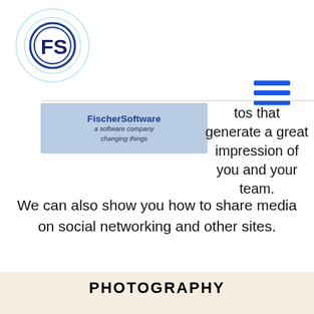[Figure (logo): FischerSoftware circular logo with FS initials and concentric ripple rings]
[Figure (logo): Hamburger menu icon (three blue horizontal bars)]
[Figure (screenshot): FischerSoftware navigation badge reading 'FischerSoftware / a software company / changing things' on a blue-grey background]
tos that generate a great impression of you and your team.
We can also show you how to share media on social networking and other sites.
PHOTOGRAPHY
[Figure (photo): Photograph of green plants/foliage, partially visible at bottom of page]